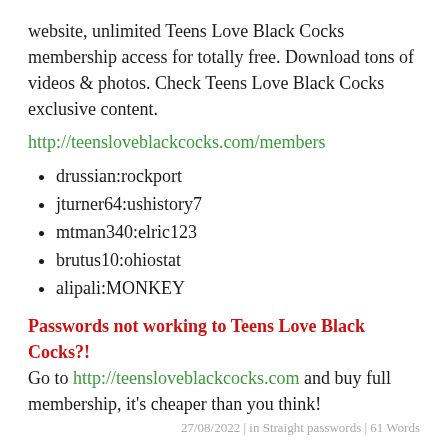website, unlimited Teens Love Black Cocks membership access for totally free. Download tons of videos & photos. Check Teens Love Black Cocks exclusive content.
http://teensloveblackcocks.com/members
drussian:rockport
jturner64:ushistory7
mtman340:elric123
brutus10:ohiostat
alipali:MONKEY
Passwords not working to Teens Love Black Cocks?! Go to http://teensloveblackcocks.com and buy full membership, it's cheaper than you think!
27/08/2022 | in Straight passwords | 61 Words